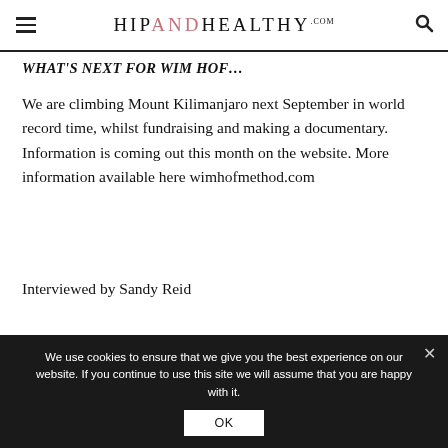HIP AND HEALTHY .com
WHAT'S NEXT FOR WIM HOF…
We are climbing Mount Kilimanjaro next September in world record time, whilst fundraising and making a documentary. Information is coming out this month on the website. More information available here wimhofmethod.com
Interviewed by Sandy Reid
We use cookies to ensure that we give you the best experience on our website. If you continue to use this site we will assume that you are happy with it.